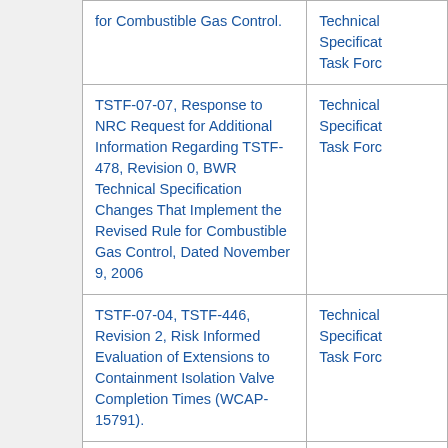| Document Title | Source |
| --- | --- |
| for Combustible Gas Control. | Technical Specification Task Force |
| TSTF-07-07, Response to NRC Request for Additional Information Regarding TSTF-478, Revision 0, BWR Technical Specification Changes That Implement the Revised Rule for Combustible Gas Control, Dated November 9, 2006 | Technical Specification Task Force |
| TSTF-07-04, TSTF-446, Revision 2, Risk Informed Evaluation of Extensions to Containment Isolation Valve Completion Times (WCAP-15791). | Technical Specification Task Force |
| TSTF-06-28, TSTF-498, Revision 0, Risk-Informed Containment Isolation Valve | Technical Specificat... |